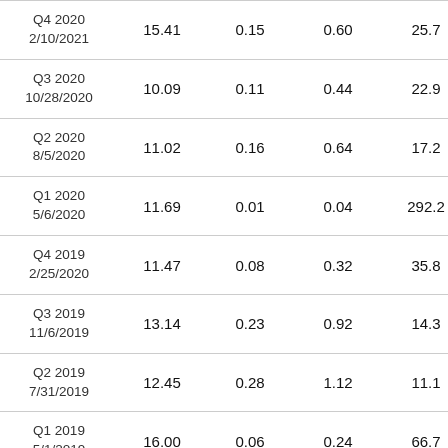| Q4 2020
2/10/2021 | 15.41 | 0.15 | 0.60 | 25.7 |
| Q3 2020
10/28/2020 | 10.09 | 0.11 | 0.44 | 22.9 |
| Q2 2020
8/5/2020 | 11.02 | 0.16 | 0.64 | 17.2 |
| Q1 2020
5/6/2020 | 11.69 | 0.01 | 0.04 | 292.2 |
| Q4 2019
2/25/2020 | 11.47 | 0.08 | 0.32 | 35.8 |
| Q3 2019
11/6/2019 | 13.14 | 0.23 | 0.92 | 14.3 |
| Q2 2019
7/31/2019 | 12.45 | 0.28 | 1.12 | 11.1 |
| Q1 2019
5/1/2019 | 16.00 | 0.06 | 0.24 | 66.7 |
| Q4 2018
2/13/2019 | 18.42 | 0.26 | 1.04 | 17.7 |